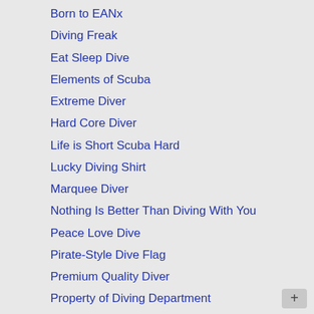Born to EANx
Diving Freak
Eat Sleep Dive
Elements of Scuba
Extreme Diver
Hard Core Diver
Life is Short Scuba Hard
Lucky Diving Shirt
Marquee Diver
Nothing Is Better Than Diving With You
Peace Love Dive
Pirate-Style Dive Flag
Premium Quality Diver
Property of Diving Department
Scuba Addict
Scuba Characters